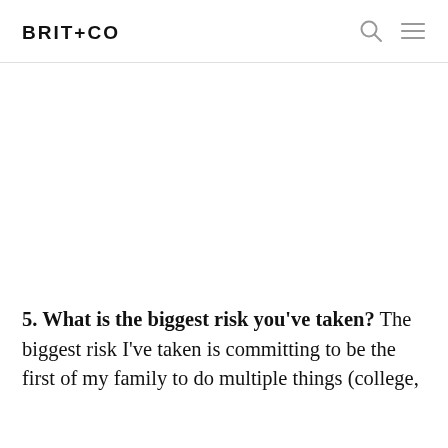BRIT+CO
[Figure (photo): Large image placeholder area (white/blank)]
5. What is the biggest risk you've taken? The biggest risk I've taken is committing to be the first of my family to do multiple things (college,